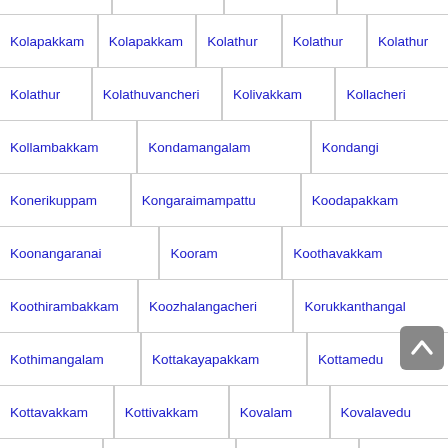| Kolapakkam | Kolapakkam | Kolathur | Kolathur | Kolathur |
| Kolathur | Kolathuvancheri | Kolivakkam | Kollacheri |
| Kollambakkam | Kondamangalam | Kondangi |
| Konerikuppam | Kongaraimampattu | Koodapakkam |
| Koonangaranai | Kooram | Koothavakkam |
| Koothirambakkam | Koozhalangacheri | Korukkanthangal |
| Kothimangalam | Kottakayapakkam | Kottamedu |
| Kottavakkam | Kottivakkam | Kovalam | Kovalavedu |
| Kovathur | Kovilambakkam | Kovilancheri | Kovur |
| Kozhiyalam | Kumaravadi | Kummuli | Kundrathur |